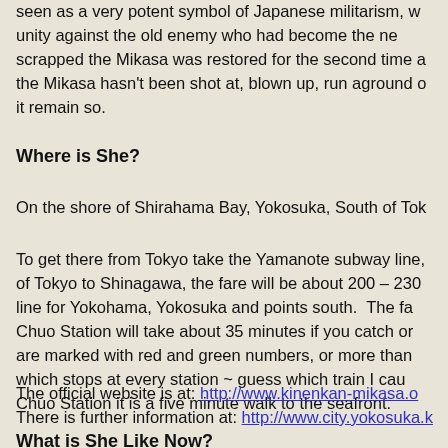seen as a very potent symbol of Japanese militarism, w… unity against the old enemy who had become the ne… scrapped the Mikasa was restored for the second time a… the Mikasa hasn't been shot at, blown up, run aground o… it remain so.
Where is She?
On the shore of Shirahama Bay, Yokosuka, South of Tok…
To get there from Tokyo take the Yamanote subway line… of Tokyo to Shinagawa, the fare will be about 200 – 230… line for Yokohama, Yokosuka and points south. The fa… Chuo Station will take about 35 minutes if you catch or… are marked with red and green numbers, or more than… which stops at every station ~ guess which train I cau… Chuo Station it is a five minute walk to the seafront.
The official website is at: http://www.kinenkan-mikasa.o… There is further information at: http://www.city.yokosuka.k…
What is She Like Now?